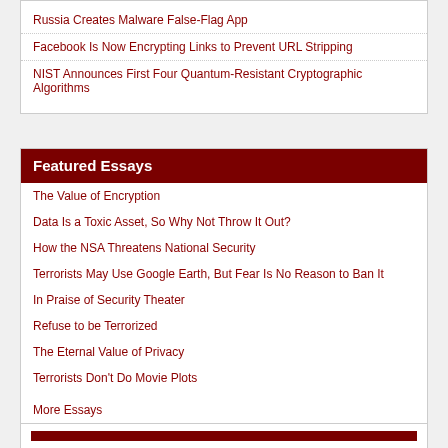Russia Creates Malware False-Flag App
Facebook Is Now Encrypting Links to Prevent URL Stripping
NIST Announces First Four Quantum-Resistant Cryptographic Algorithms
Featured Essays
The Value of Encryption
Data Is a Toxic Asset, So Why Not Throw It Out?
How the NSA Threatens National Security
Terrorists May Use Google Earth, But Fear Is No Reason to Ban It
In Praise of Security Theater
Refuse to be Terrorized
The Eternal Value of Privacy
Terrorists Don't Do Movie Plots
More Essays